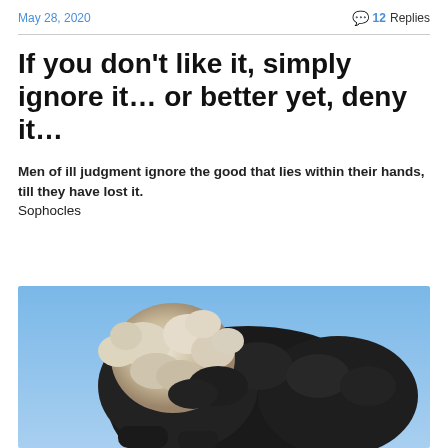May 28, 2020    💬 12 Replies
If you don't like it, simply ignore it… or better yet, deny it…
Men of ill judgment ignore the good that lies within their hands,
till they have lost it.
Sophocles
[Figure (photo): A dog with black and white fluffy fur bending its head down against a blue sky background]